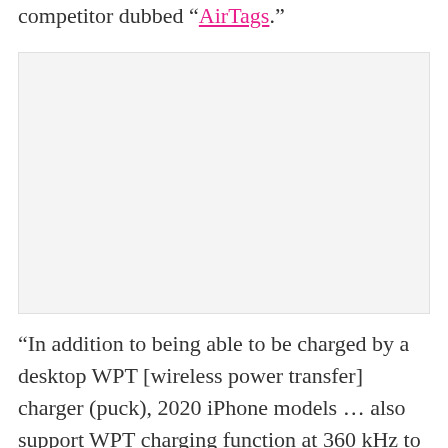competitor dubbed “AirTags.”
[Figure (photo): A light gray rectangular image placeholder occupying the middle section of the page.]
“In addition to being able to be charged by a desktop WPT [wireless power transfer] charger (puck), 2020 iPhone models … also support WPT charging function at 360 kHz to charge accessories,” one of the documents reads. It lists a